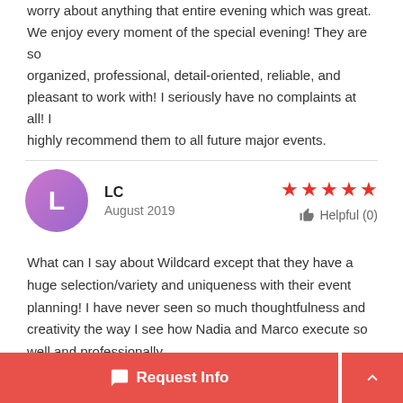worry about anything that entire evening which was great. We enjoy every moment of the special evening! They are so organized, professional, detail-oriented, reliable, and pleasant to work with! I seriously have no complaints at all! I highly recommend them to all future major events.
LC
August 2019
★★★★★
Helpful (0)
What can I say about Wildcard except that they have a huge selection/variety and uniqueness with their event planning! I have never seen so much thoughtfulness and creativity the way I see how Nadia and Marco execute so well and professionally.
Request Info